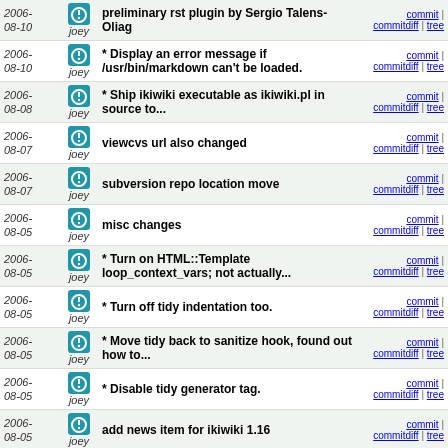| Date | Author | Message | Links |
| --- | --- | --- | --- |
| 2006-08-10 | joey | preliminary rst plugin by Sergio Talens-Oliag | commit | commitdiff | tree |
| 2006-08-10 | joey | * Display an error message if /usr/bin/markdown can't be loaded. | commit | commitdiff | tree |
| 2006-08-08 | joey | * Ship ikiwiki executable as ikiwiki.pl in source to... | commit | commitdiff | tree |
| 2006-08-07 | joey | viewcvs url also changed | commit | commitdiff | tree |
| 2006-08-07 | joey | subversion repo location move | commit | commitdiff | tree |
| 2006-08-05 | joey | misc changes | commit | commitdiff | tree |
| 2006-08-05 | joey | * Turn on HTML::Template loop_context_vars; not actually... | commit | commitdiff | tree |
| 2006-08-05 | joey | * Turn off tidy indentation too. | commit | commitdiff | tree |
| 2006-08-05 | joey | * Move tidy back to sanitize hook, found out how to... | commit | commitdiff | tree |
| 2006-08-05 | joey | * Disable tidy generator tag. | commit | commitdiff | tree |
| 2006-08-05 | joey | add news item for ikiwiki 1.16 | commit | commitdiff | tree |
| 2006-08-05 | joey | releasing version 1.16 | commit | commitdiff | tree |